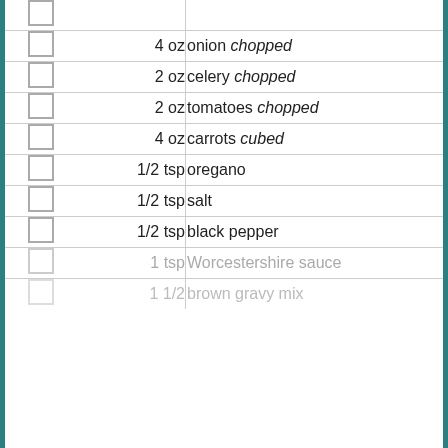| check | qty | ingredient |
| --- | --- | --- |
|  | 4 oz | onion chopped |
|  | 2 oz | celery chopped |
|  | 2 oz | tomatoes chopped |
|  | 4 oz | carrots cubed |
|  | 1/2 tsp | oregano |
|  | 1/2 tsp | salt |
|  | 1/2 tsp | black pepper |
|  | 1 tsp | Worcestershire sauce |
|  | 1 1/2 | brown gravy mix |